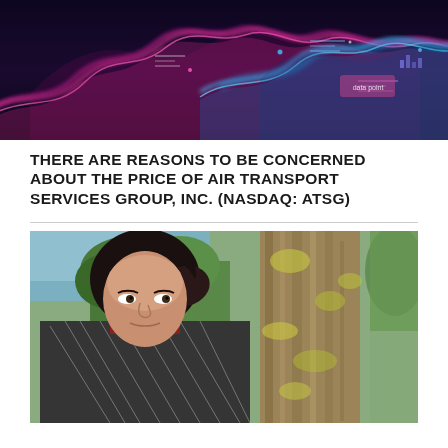[Figure (illustration): Abstract digital visualization with pink and blue neon wave patterns on a dark purple background, resembling data flow or audio waveforms]
THERE ARE REASONS TO BE CONCERNED ABOUT THE PRICE OF AIR TRANSPORT SERVICES GROUP, INC. (NASDAQ: ATSG)
[Figure (photo): Portrait photo of a young person with dark hair wearing a black and white patterned jacket/hoodie over a dark red shirt, standing outdoors near a large tree with green and yellow foliage]